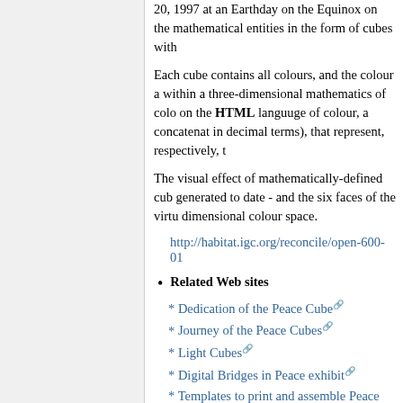20, 1997 at an Earthday on the Equinox on the mathematical entities in the form of cubes with
Each cube contains all colours, and the colour a within a three-dimensional mathematics of colo on the HTML languuge of colour, a concatenat in decimal terms), that represent, respectively, t
The visual effect of mathematically-defined cub generated to date - and the six faces of the virtu dimensional colour space.
http://habitat.igc.org/reconcile/open-600-01
Related Web sites
* Dedication of the Peace Cube
* Journey of the Peace Cubes
* Light Cubes
* Digital Bridges in Peace exhibit
* Templates to print and assemble Peace Cu
International Decade of Action: Wate